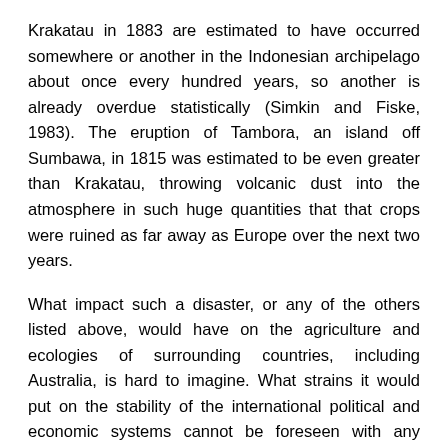Krakatau in 1883 are estimated to have occurred somewhere or another in the Indonesian archipelago about once every hundred years, so another is already overdue statistically (Simkin and Fiske, 1983). The eruption of Tambora, an island off Sumbawa, in 1815 was estimated to be even greater than Krakatau, throwing volcanic dust into the atmosphere in such huge quantities that that crops were ruined as far away as Europe over the next two years.
What impact such a disaster, or any of the others listed above, would have on the agriculture and ecologies of surrounding countries, including Australia, is hard to imagine. What strains it would put on the stability of the international political and economic systems cannot be foreseen with any precision. What demands or requests would be made for emergency help, humanitarian aid and economic rehabilitation of a wealthy country like Australia-and how Australians of that time will respond-are even more problematic.